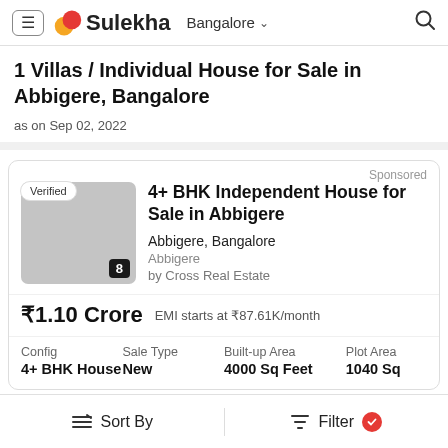Sulekha  Bangalore
1 Villas / Individual House for Sale in Abbigere, Bangalore
as on Sep 02, 2022
Sponsored
Verified
4+ BHK Independent House for Sale in Abbigere
Abbigere, Bangalore
Abbigere
by Cross Real Estate
₹1.10 Crore  EMI starts at ₹87.61K/month
| Config | Sale Type | Built-up Area | Plot Area |
| --- | --- | --- | --- |
| 4+ BHK House | New | 4000 Sq Feet | 1040 Sq |
Sort By    Filter